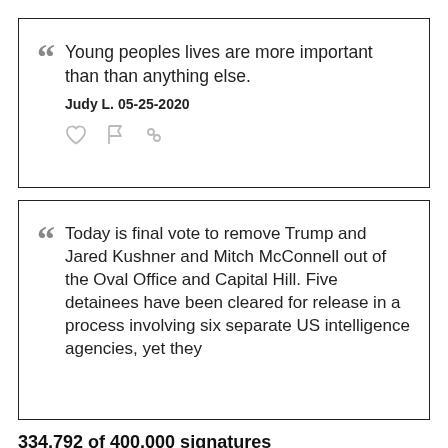Young peoples lives are more important than than anything else. Judy L. 05-25-2020
Today is final vote to remove Trump and Jared Kushner and Mitch McConnell out of the Oval Office and Capital Hill. Five detainees have been cleared for release in a process involving six separate US intelligence agencies, yet they
334,792 of 400,000 signatures
[Figure (infographic): Progress bar showing approximately 67% filled with blue diagonal stripes pattern against a light grey background.]
SIGN